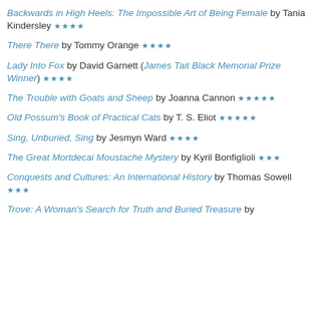Backwards in High Heels: The Impossible Art of Being Female by Tania Kindersley ★★★★
There There by Tommy Orange ★★★★
Lady Into Fox by David Garnett (James Tait Black Memorial Prize Winner) ★★★★
The Trouble with Goats and Sheep by Joanna Cannon ★★★★★
Old Possum's Book of Practical Cats by T. S. Eliot ★★★★★
Sing, Unburied, Sing by Jesmyn Ward ★★★★
The Great Mortdecai Moustache Mystery by Kyril Bonfiglioli ★★★
Conquests and Cultures: An International History by Thomas Sowell ★★★
Trove: A Woman's Search for Truth and Buried Treasure by